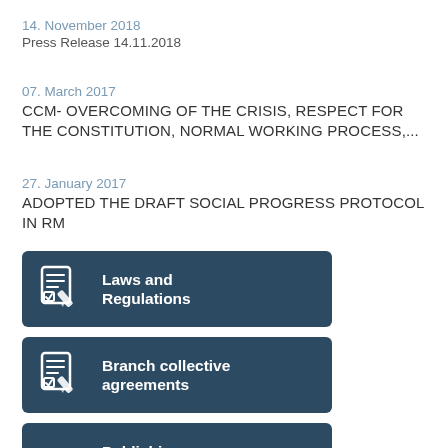14. November 2018
Press Release 14.11.2018
07. March 2017
CCM- OVERCOMING OF THE CRISIS, RESPECT FOR THE CONSTITUTION, NORMAL WORKING PROCESS,...
27. January 2017
ADOPTED THE DRAFT SOCIAL PROGRESS PROTOCOL IN RM
[Figure (infographic): Dark blue banner button with document/pen icon and text 'Laws and Regulations']
[Figure (infographic): Dark blue banner button with document/pen icon and text 'Branch collective agreements']
[Figure (infographic): Dark blue banner button with book/stack icon and text 'Publishing Activity']